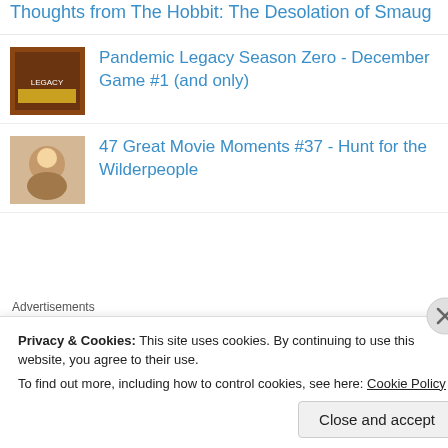Thoughts from The Hobbit: The Desolation of Smaug
Pandemic Legacy Season Zero - December Game #1 (and only)
47 Great Movie Moments #37 - Hunt for the Wilderpeople
Advertisements
[Figure (screenshot): Advertisement banner with light blue background showing three circular icons with building/server illustrations and small plus signs scattered around]
Privacy & Cookies: This site uses cookies. By continuing to use this website, you agree to their use.
To find out more, including how to control cookies, see here: Cookie Policy
Close and accept